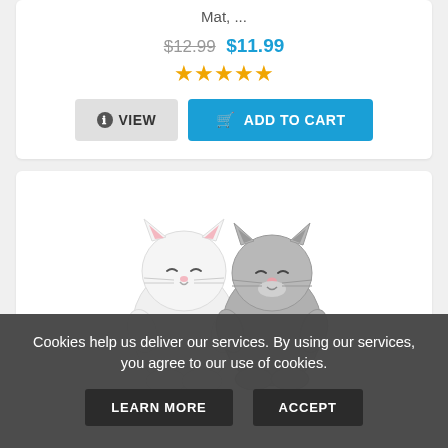Mat, ...
$12.99 $11.99 ★★★★★
VIEW  ADD TO CART
[Figure (photo): Two cute cat figurines side by side — one white and one gray — chubby cartoon-style cat toys with small faces and stubby arms]
Cookies help us deliver our services. By using our services, you agree to our use of cookies.
LEARN MORE  ACCEPT